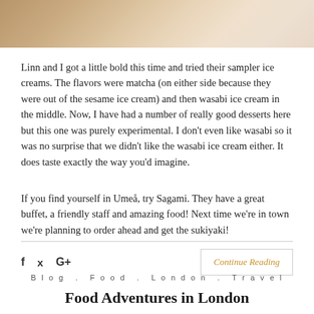[Figure (photo): Top portion of a food photo, cropped, showing ice cream or dessert items]
Linn and I got a little bold this time and tried their sampler ice creams. The flavors were matcha (on either side because they were out of the sesame ice cream) and then wasabi ice cream in the middle. Now, I have had a number of really good desserts here but this one was purely experimental. I don't even like wasabi so it was no surprise that we didn't like the wasabi ice cream either. It does taste exactly the way you'd imagine.
If you find yourself in Umeå, try Sagami. They have a great buffet, a friendly staff and amazing food! Next time we're in town we're planning to order ahead and get the sukiyaki!
Continue Reading
Blog . Food . London . Travel
Food Adventures in London